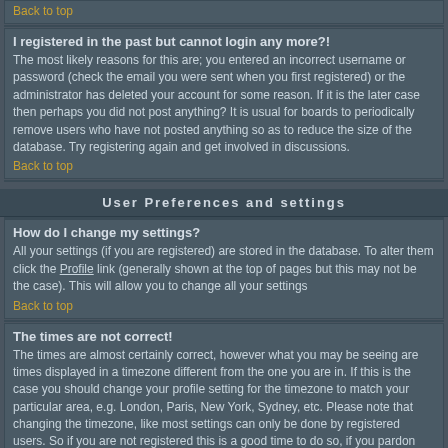Back to top
I registered in the past but cannot login any more?!
The most likely reasons for this are; you entered an incorrect username or password (check the email you were sent when you first registered) or the administrator has deleted your account for some reason. If it is the later case then perhaps you did not post anything? It is usual for boards to periodically remove users who have not posted anything so as to reduce the size of the database. Try registering again and get involved in discussions.
Back to top
User Preferences and settings
How do I change my settings?
All your settings (if you are registered) are stored in the database. To alter them click the Profile link (generally shown at the top of pages but this may not be the case). This will allow you to change all your settings
Back to top
The times are not correct!
The times are almost certainly correct, however what you may be seeing are times displayed in a timezone different from the one you are in. If this is the case you should change your profile setting for the timezone to match your particular area, e.g. London, Paris, New York, Sydney, etc. Please note that changing the timezone, like most settings can only be done by registered users. So if you are not registered this is a good time to do so, if you pardon the pun!
Back to top
I changed the timezone and the time is still wrong!